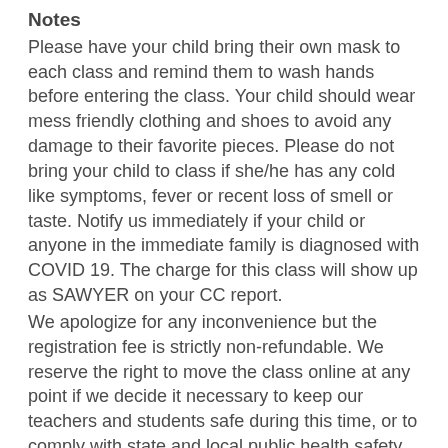Notes
Please have your child bring their own mask to each class and remind them to wash hands before entering the class. Your child should wear mess friendly clothing and shoes to avoid any damage to their favorite pieces. Please do not bring your child to class if she/he has any cold like symptoms, fever or recent loss of smell or taste. Notify us immediately if your child or anyone in the immediate family is diagnosed with COVID 19. The charge for this class will show up as SAWYER on your CC report.
We apologize for any inconvenience but the registration fee is strictly non-refundable. We reserve the right to move the class online at any point if we decide it necessary to keep our teachers and students safe during this time, or to comply with state and local public health safety requirements.
All materials necessary for completing the projects in this camp will be delivered to your house if we are